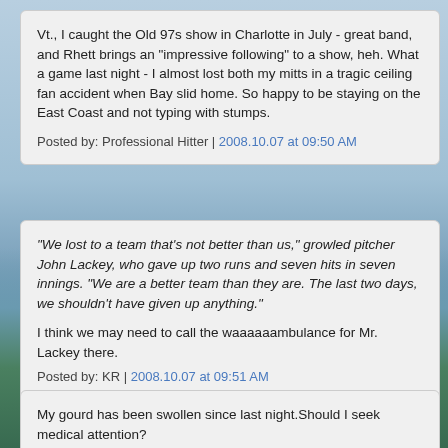Vt., I caught the Old 97s show in Charlotte in July - great band, and Rhett brings an "impressive following" to a show, heh. What a game last night - I almost lost both my mitts in a tragic ceiling fan accident when Bay slid home. So happy to be staying on the East Coast and not typing with stumps.

Posted by: Professional Hitter | 2008.10.07 at 09:50 AM
"We lost to a team that's not better than us," growled pitcher John Lackey, who gave up two runs and seven hits in seven innings. "We are a better team than they are. The last two days, we shouldn't have given up anything."

I think we may need to call the waaaaaambulance for Mr. Lackey there.

Posted by: KR | 2008.10.07 at 09:51 AM
My gourd has been swollen since last night.Should I seek medical attention?

Posted by: Horwich Rich | 2008.10.07 at 09:52 AM